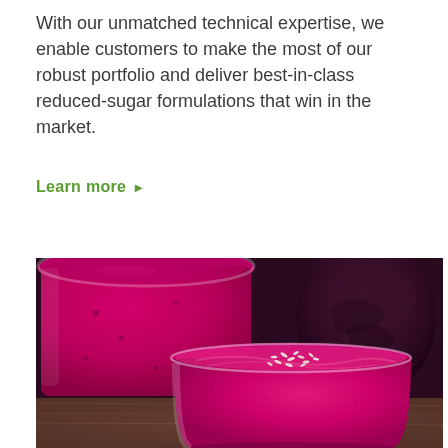With our unmatched technical expertise, we enable customers to make the most of our robust portfolio and deliver best-in-class reduced-sugar formulations that win in the market.
Learn more ▶
[Figure (photo): Close-up photo of two glasses containing vibrant pink/magenta berry smoothies. The foreground glass has shredded coconut flakes on top. Background shows a blurred dark purple ingredient (possibly beetroot). Wooden surface visible.]